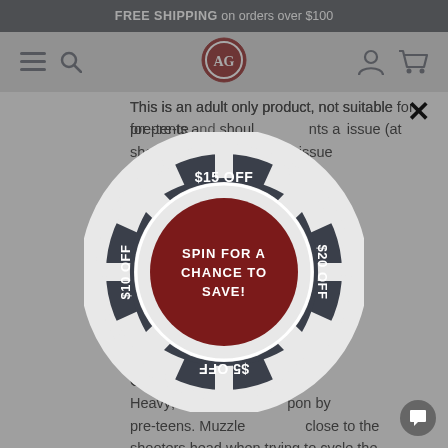FREE SHIPPING on orders over $100
[Figure (screenshot): Website navigation bar with hamburger menu, search icon, AG logo (red circle with AG monogram), user account icon, and cart icon]
This is an adult only product, not suitable for pre-teens, teens, and young adults and should not be sold if you suspect this issue (at...
Cons... Heavy; b... pon by pre-teens. Muzzle... close to the shooters head when trying to cycle the barrel with the butt on the ground to
[Figure (infographic): Spin-to-win wheel popup showing a circular prize wheel with four sections: $15 OFF (top, dark), $20 OFF (right, dark), $5 OFF (bottom, dark, upside down), $10 OFF (left, dark). Center circle is dark red with text 'SPIN FOR A CHANCE TO SAVE!']
✕ close button in upper right